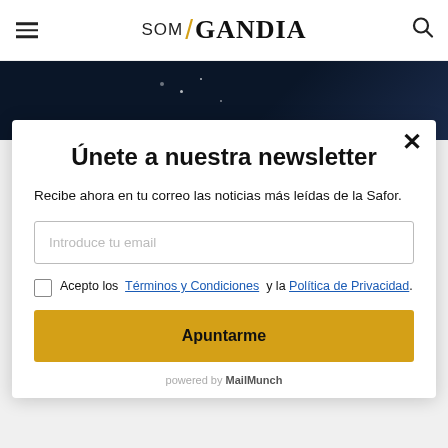SOM / GANDIA
[Figure (photo): Dark background image strip with small light dots/stars on a dark blue background]
Únete a nuestra newsletter
Recibe ahora en tu correo las noticias más leídas de la Safor.
Introduce tu email
Acepto los Términos y Condiciones y la Política de Privacidad.
Apuntarme
powered by MailMunch